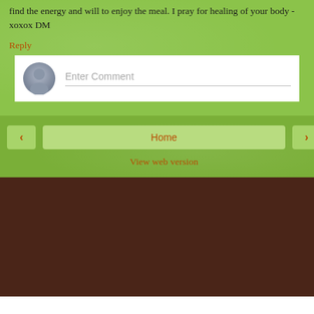find the energy and will to enjoy the meal. I pray for healing of your body - xoxox DM
Reply
[Figure (screenshot): Comment input box with user avatar and 'Enter Comment' placeholder text]
< Home > View web version